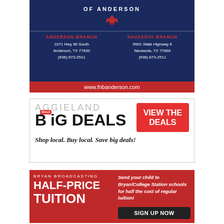[Figure (advertisement): First National Bank of Anderson advertisement with two branch locations and website]
[Figure (advertisement): Aggieland Big Deals advertisement encouraging local shopping]
[Figure (advertisement): Bryan Broadcasting Half-Price Tuition advertisement with sign up now button]